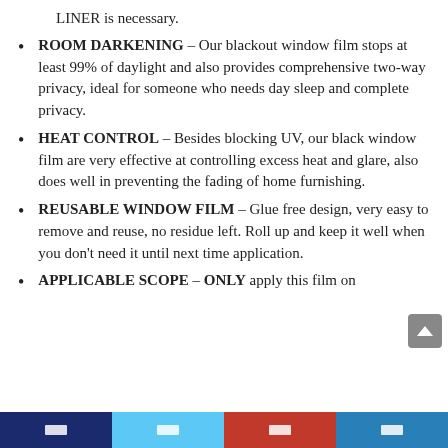LINER is necessary.
ROOM DARKENING – Our blackout window film stops at least 99% of daylight and also provides comprehensive two-way privacy, ideal for someone who needs day sleep and complete privacy.
HEAT CONTROL – Besides blocking UV, our black window film are very effective at controlling excess heat and glare, also does well in preventing the fading of home furnishing.
REUSABLE WINDOW FILM – Glue free design, very easy to remove and reuse, no residue left. Roll up and keep it well when you don't need it until next time application.
APPLICABLE SCOPE – ONLY apply this film on